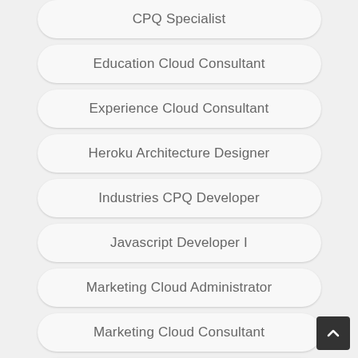CPQ Specialist
Education Cloud Consultant
Experience Cloud Consultant
Heroku Architecture Designer
Industries CPQ Developer
Javascript Developer I
Marketing Cloud Administrator
Marketing Cloud Consultant
Marketing Cloud Developer
Marketing Cloud Email Specialist